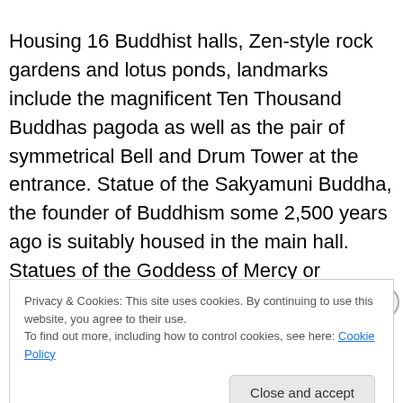Housing 16 Buddhist halls, Zen-style rock gardens and lotus ponds, landmarks include the magnificent Ten Thousand Buddhas pagoda as well as the pair of symmetrical Bell and Drum Tower at the entrance. Statue of the Sakyamuni Buddha, the founder of Buddhism some 2,500 years ago is suitably housed in the main hall. Statues of the Goddess of Mercy or Guanyin and the God of Medicine as well as other bodhisattvas are also present
Privacy & Cookies: This site uses cookies. By continuing to use this website, you agree to their use. To find out more, including how to control cookies, see here: Cookie Policy